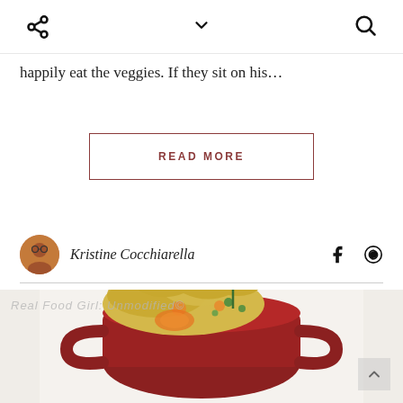Navigation bar with share, chevron/dropdown, and search icons
happily eat the veggies. If they sit on his…
READ MORE
Kristine Cocchiarella
[Figure (photo): A ceramic red double-handled pot filled with a yellow curry-style chicken dish topped with fresh green parsley. A watermark reads 'Real Food Girl: Unmodified©']